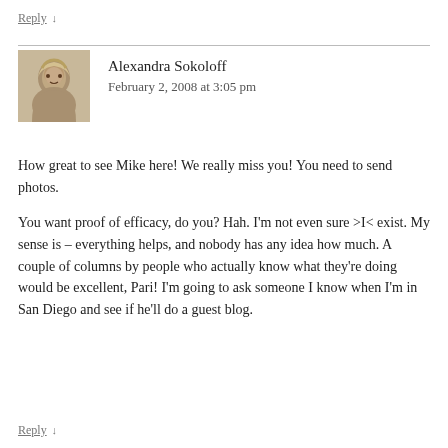Reply ↓
[Figure (photo): Small grayscale avatar photo of Alexandra Sokoloff]
Alexandra Sokoloff
February 2, 2008 at 3:05 pm
How great to see Mike here! We really miss you! You need to send photos.
You want proof of efficacy, do you? Hah. I'm not even sure >I< exist. My sense is – everything helps, and nobody has any idea how much. A couple of columns by people who actually know what they're doing would be excellent, Pari! I'm going to ask someone I know when I'm in San Diego and see if he'll do a guest blog.
Reply ↓